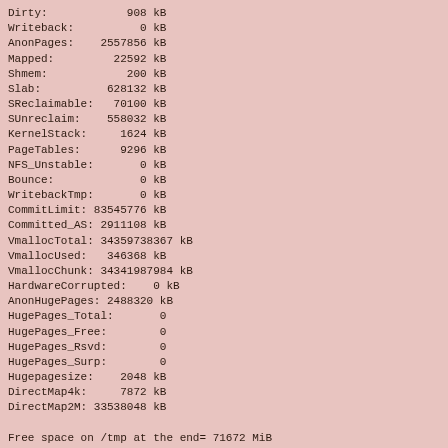Dirty:            908 kB
Writeback:          0 kB
AnonPages:    2557856 kB
Mapped:         22592 kB
Shmem:            200 kB
Slab:          628132 kB
SReclaimable:   70100 kB
SUnreclaim:    558032 kB
KernelStack:     1624 kB
PageTables:      9296 kB
NFS_Unstable:       0 kB
Bounce:             0 kB
WritebackTmp:       0 kB
CommitLimit: 83545776 kB
Committed_AS: 2911108 kB
VmallocTotal: 34359738367 kB
VmallocUsed:   346368 kB
VmallocChunk: 34341987984 kB
HardwareCorrupted:    0 kB
AnonHugePages: 2488320 kB
HugePages_Total:       0
HugePages_Free:        0
HugePages_Rsvd:        0
HugePages_Surp:        0
Hugepagesize:    2048 kB
DirectMap4k:     7872 kB
DirectMap2M: 33538048 kB

Free space on /tmp at the end= 71672 MiB
End job on node130 at 2012-05-24 20:36:09